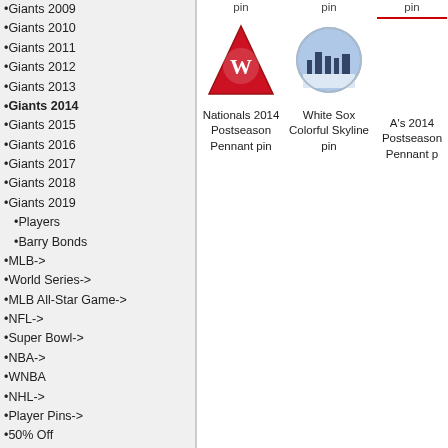•Giants 2009
•Giants 2010
•Giants 2011
•Giants 2012
•Giants 2013
•Giants 2014
•Giants 2015
•Giants 2016
•Giants 2017
•Giants 2018
•Giants 2019
•Players
•Barry Bonds
•MLB->
•World Series->
•MLB All-Star Game->
•NFL->
•Super Bowl->
•NBA->
•WNBA
•NHL->
•Player Pins->
•50% Off
•World Baseball Classic
•Disney
•Flag & Peace Pins
•Press Pins
•Pro Bowl
•Pin Bags, Gifts
•Tennis / Golf / Etc
•Pin Sets
•Olympics
[Figure (photo): Nationals 2014 Postseason Pennant pin - red triangle pin with Nationals W logo]
Nationals 2014 Postseason Pennant pin
[Figure (photo): White Sox Colorful Skyline pin - dome shaped pin with skyline image]
White Sox Colorful Skyline pin
A's 2014 Postseason Pennant p